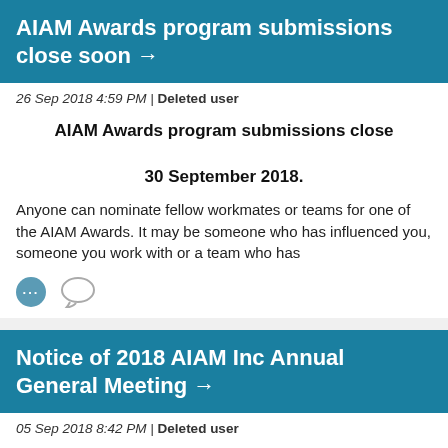AIAM Awards program submissions close soon →
26 Sep 2018 4:59 PM | Deleted user
AIAM Awards program submissions close 30 September 2018.
Anyone can nominate fellow workmates or teams for one of the AIAM Awards. It may be someone who has influenced you, someone you work with or a team who has
[Figure (infographic): Two icons: a filled circle with three dots (more options) and a speech bubble (comment)]
Notice of 2018 AIAM Inc Annual General Meeting →
05 Sep 2018 8:42 PM | Deleted user